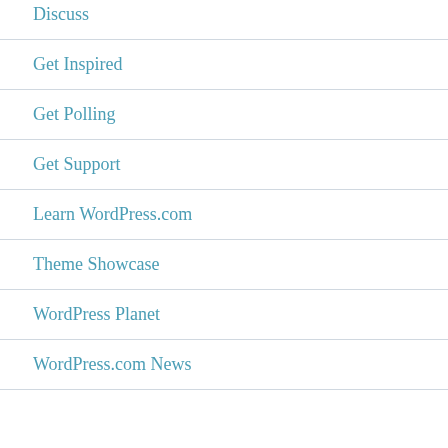Discuss
Get Inspired
Get Polling
Get Support
Learn WordPress.com
Theme Showcase
WordPress Planet
WordPress.com News